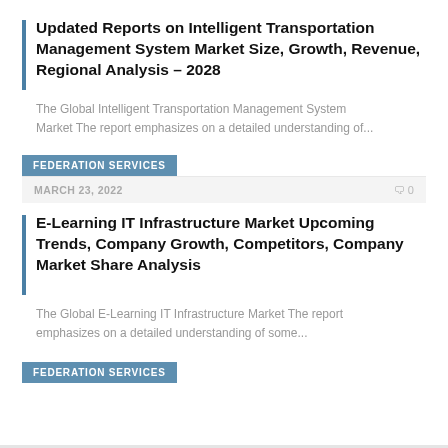Updated Reports on Intelligent Transportation Management System Market Size, Growth, Revenue, Regional Analysis – 2028
The Global Intelligent Transportation Management System Market The report emphasizes on a detailed understanding of...
FEDERATION SERVICES
MARCH 23, 2022   ⌂0
E-Learning IT Infrastructure Market Upcoming Trends, Company Growth, Competitors, Company Market Share Analysis
The Global E-Learning IT Infrastructure Market The report emphasizes on a detailed understanding of some...
FEDERATION SERVICES